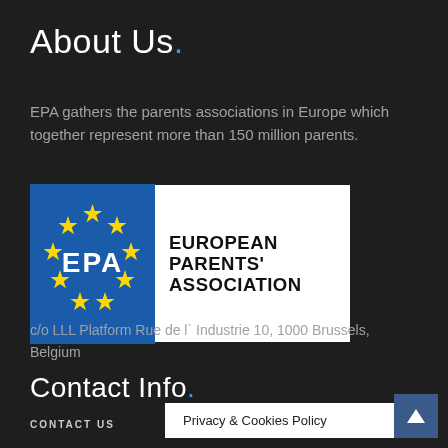About Us.
EPA gathers the parents associations in Europe which together represent more than 150 million parents.
[Figure (logo): European Parents' Association logo: blue square with yellow stars arranged in a circle and 'EPA' text in white, next to bold text reading 'EUROPEAN PARENTS' ASSOCIATION']
Contact Info.
c/o LLL Platform Rue de l` Industrie 10, 1000 Brussels, Belgium
CONTACT US    Privacy & Cookies Policy